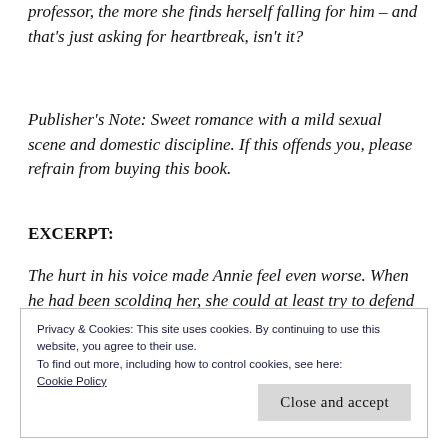professor, the more she finds herself falling for him – and that's just asking for heartbreak, isn't it?
Publisher's Note: Sweet romance with a mild sexual scene and domestic discipline. If this offends you, please refrain from buying this book.
EXCERPT:
The hurt in his voice made Annie feel even worse. When he had been scolding her, she could at least try to defend herself. But when he reproached her quietly, she knew she
Privacy & Cookies: This site uses cookies. By continuing to use this website, you agree to their use.
To find out more, including how to control cookies, see here:
Cookie Policy
Close and accept